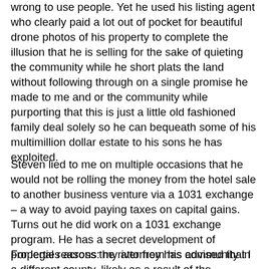wrong to use people. Yet he used his listing agent who clearly paid a lot out of pocket for beautiful drone photos of his property to complete the illusion that he is selling for the sake of quieting the community while he short plats the land without following through on a single promise he made to me and or the community while purporting that this is just a little old fashioned family deal solely so he can bequeath some of his multimillion dollar estate to his sons he has exploited.
Steven lied to me on multiple occasions that he would not be rolling the money from the hotel sale to another business venture via a 1031 exchange – a way to avoid paying taxes on capital gains. Turns out he did work on a 1031 exchange program. He has a secret development of properties across the river from his community in a different county, likely as a result of the community coming together to stand up to his development in their area.
For legal reasons: my attorney has advised that I